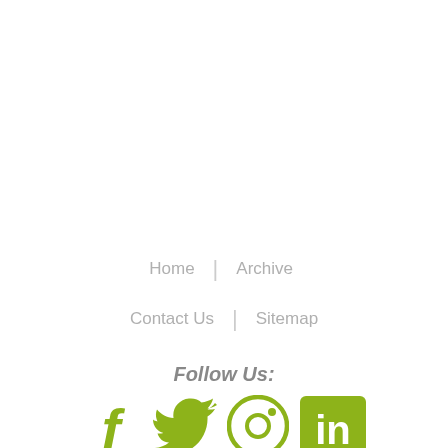Home | Archive
Contact Us | Sitemap
Follow Us:
[Figure (infographic): Four social media icons in olive/yellow-green color: Facebook (f), Twitter (bird), Instagram (camera circle), LinkedIn (in square)]